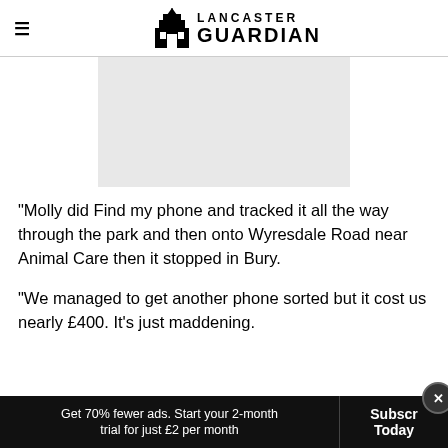LANCASTER GUARDIAN
[Figure (photo): Light grey placeholder image rectangle]
"Molly did Find my phone and tracked it all the way through the park and then onto Wyresdale Road near Animal Care then it stopped in Bury.
"We managed to get another phone sorted but it cost us nearly £400. It's just maddening.
Get 70% fewer ads. Start your 2-month trial for just £2 per month | Subscribe Today